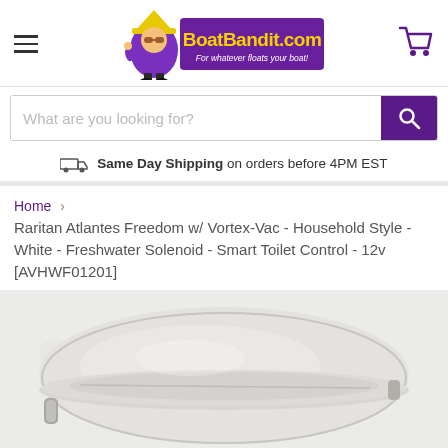[Figure (logo): BoatBandit.com logo with cartoon character and purple background, tagline: For whatever floats your boat!]
[Figure (other): Search bar with placeholder text 'What are you looking for?' and purple search button with magnifying glass icon]
Same Day Shipping on orders before 4PM EST
Home > Raritan Atlantes Freedom w/ Vortex-Vac - Household Style - White - Freshwater Solenoid - Smart Toilet Control - 12v [AVHWF01201]
[Figure (photo): Close-up photo of a white household-style marine toilet (Raritan Atlantes Freedom) showing the toilet bowl and seat from above at an angle, with chrome handle visible on the side]